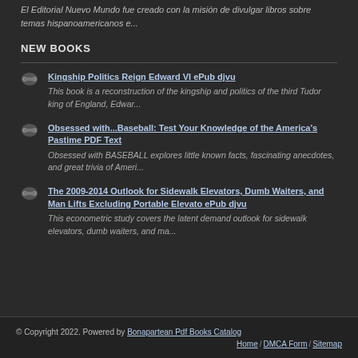El Editorial Nuevo Mundo fue creado con la misión de divulgar libros sobre temas hispanoamericanos e...
NEW BOOKS
Kingship Politics Reign Edward VI ePub djvu — This book is a reconstruction of the kingship and politics of the third Tudor king of England, Edwar...
Obsessed with...Baseball: Test Your Knowledge of the America's Pastime PDF Text — Obsessed with BASEBALL explores little known facts, fascinating anecdotes, and great trivia of Ameri...
The 2009-2014 Outlook for Sidewalk Elevators, Dumb Waiters, and Man Lifts Excluding Portable Elevato ePub djvu — This econometric study covers the latent demand outlook for sidewalk elevators, dumb waiters, and ma...
© Copyright 2022. Powered by Bonapartean Pdf Books Catalog | Home / DMCA Form / Sitemap